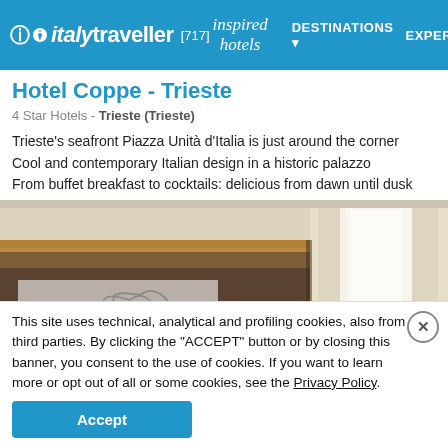italytraveller [717] inspired hotels DESTINATIONS ▾ EXPERI
Hotel Coppe - Trieste
4 Star Hotels - Trieste (Trieste)
Trieste's seafront Piazza Unità d'Italia is just around the corner
Cool and contemporary Italian design in a historic palazzo
From buffet breakfast to cocktails: delicious from dawn until dusk
[Figure (photo): Interior hotel room photo showing a brown accent wall with LED lighting strip, decorative artwork panel, and a large window with white curtains letting in natural light.]
This site uses technical, analytical and profiling cookies, also from third parties. By clicking the "ACCEPT" button or by closing this banner, you consent to the use of cookies. If you want to learn more or opt out of all or some cookies, see the Privacy Policy.
Accept